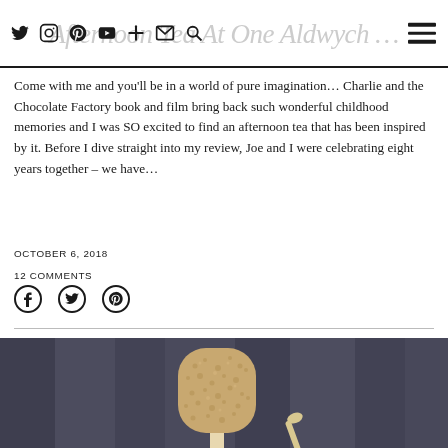Afternoon Tea At One Aldwych …
Come with me and you'll be in a world of pure imagination… Charlie and the Chocolate Factory book and film bring back such wonderful childhood memories and I was SO excited to find an afternoon tea that has been inspired by it. Before I dive straight into my review, Joe and I were celebrating eight years together – we have…
OCTOBER 6, 2018
12 COMMENTS
[Figure (photo): Close-up photo of a sponge cake or ice lolly with a textured beige/brown surface, held on a stick, set against a blurred dark grey/blue curtain background.]